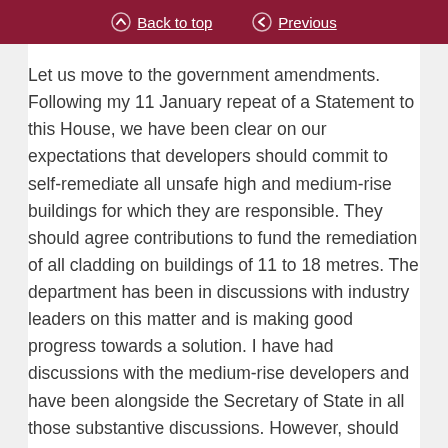Back to top  Previous
Let us move to the government amendments. Following my 11 January repeat of a Statement to this House, we have been clear on our expectations that developers should commit to self-remediate all unsafe high and medium-rise buildings for which they are responsible. They should agree contributions to fund the remediation of all cladding on buildings of 11 to 18 metres. The department has been in discussions with industry leaders on this matter and is making good progress towards a solution. I have had discussions with the medium-rise developers and have been alongside the Secretary of State in all those substantive discussions. However, should we need to take action against those unwilling to make these